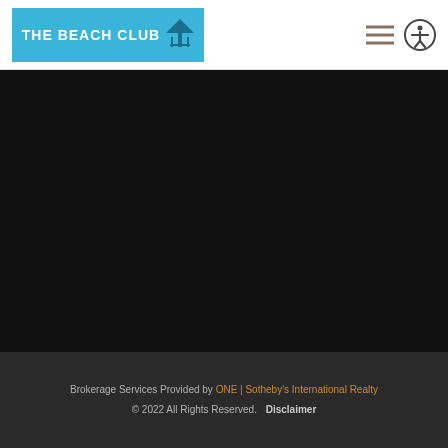THE BEACH CLUB
[Figure (other): Large dark/black area representing a mostly empty content region or background image area]
Brokerage Services Provided by ONE | Sotheby's International Realty © 2022 All Rights Reserved. Disclaimer